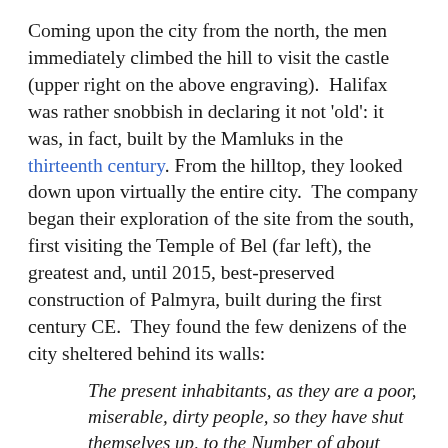Coming upon the city from the north, the men immediately climbed the hill to visit the castle (upper right on the above engraving).  Halifax was rather snobbish in declaring it not 'old': it was, in fact, built by the Mamluks in the thirteenth century. From the hilltop, they looked down upon virtually the entire city.  The company began their exploration of the site from the south, first visiting the Temple of Bel (far left), the greatest and, until 2015, best-preserved construction of Palmyra, built during the first century CE.  They found the few denizens of the city sheltered behind its walls:
The present inhabitants, as they are a poor, miserable, dirty people, so they have shut themselves up, to the Number of about Thirty or Forty Families, in little Hutts made of dirt [scarce enough for a Dog-kennel, or a Hog-sty], within the Walls of a spacious Court, which enclosed a most magnificent Heathen